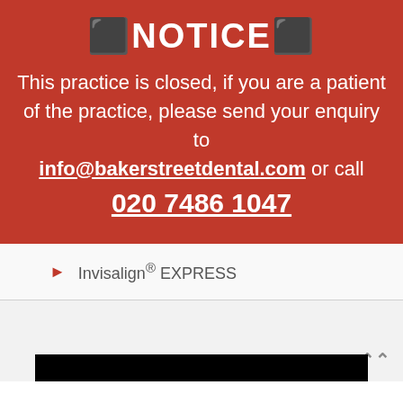⬛NOTICE⬛
This practice is closed, if you are a patient of the practice, please send your enquiry to info@bakerstreetdental.com or call 020 7486 1047
Invisalign® EXPRESS